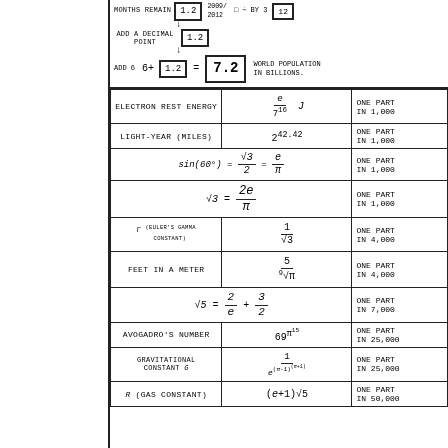[Figure (infographic): Top section showing world population calculation: MONTHS REMAIN 1.2 (2009/2012), ADD A DECIMAL POINT 1.2, ADD 6: 6+1.2 = 7.2 WORLD POPULATION IN BILLIONS.]
| QUANTITY | APPROXIMATION | ACCURACY |
| --- | --- | --- |
| ELECTRON REST ENERGY | e / 7^16 J | ONE PART IN 1,000 |
| LIGHT-YEAR (MILES) | 2^42.42 | ONE PART IN 1,000 |
| SIN(60°) = √3/2 = e/π |  | ONE PART IN 1,000 |
| √3 = 2e/π |  | ONE PART IN 1,000 |
| γ (EULER'S GAMMA CONSTANT) | 1/√3 | ONE PART IN 4,000 |
| FEET IN A METER | 5/⁹√π | ONE PART IN 4,000 |
| √5 = 2/e + 3/2 |  | ONE PART IN 7,000 |
| AVOGADRO'S NUMBER | 69^π^15 | ONE PART IN 25,000 |
| GRAVITATIONAL CONSTANT G | 1 / e^(π-1)^(π+1) | ONE PART IN 25,000 |
| R (GAS CONSTANT) | (e+1)√5 | ONE PART IN 50,000 |